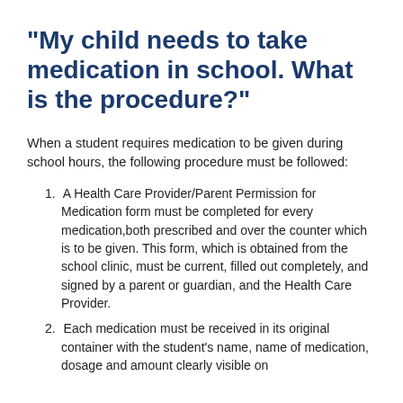"My child needs to take medication in school. What is the procedure?"
When a student requires medication to be given during school hours, the following procedure must be followed:
A Health Care Provider/Parent Permission for Medication form must be completed for every medication,both prescribed and over the counter which is to be given. This form, which is obtained from the school clinic, must be current, filled out completely, and signed by a parent or guardian, and the Health Care Provider.
Each medication must be received in its original container with the student's name, name of medication, dosage and amount clearly visible on